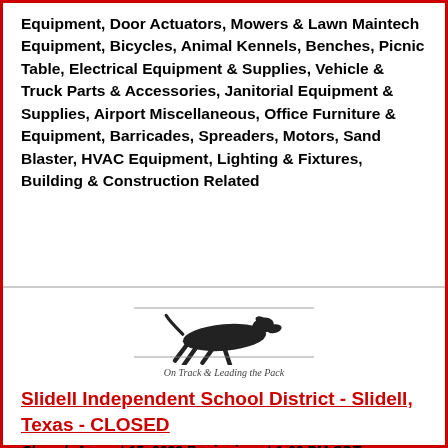Equipment, Door Actuators, Mowers & Lawn Maintech Equipment, Bicycles, Animal Kennels, Benches, Picnic Table, Electrical Equipment & Supplies, Vehicle & Truck Parts & Accessories, Janitorial Equipment & Supplies, Airport Miscellaneous, Office Furniture & Equipment, Barricades, Spreaders, Motors, Sand Blaster, HVAC Equipment, Lighting & Fixtures, Building & Construction Related
[Figure (logo): Greyhound running dog logo with tagline 'On Track & Leading the Pack']
Slidell Independent School District - Slidell, Texas - CLOSED
Closed: August 15, 2022 Beginning at 1:00 PM CDT
Selling 2 Lots Including: School Buses